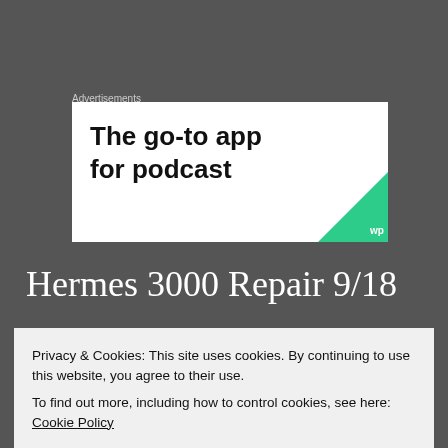Advertisements
[Figure (other): Advertisement banner: 'The go-to app for podcast' with a green triangle corner accent]
Hermes 3000 Repair 9/18
September 25, 2018
Privacy & Cookies: This site uses cookies. By continuing to use this website, you agree to their use.
To find out more, including how to control cookies, see here: Cookie Policy
Close and accept